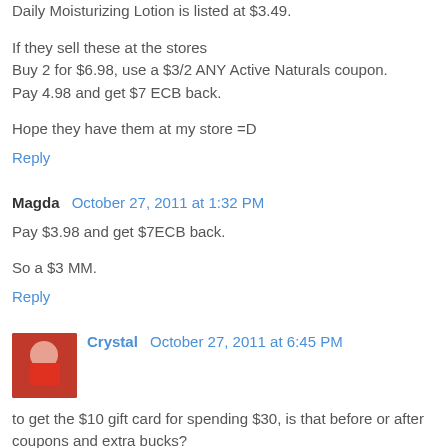Daily Moisturizing Lotion is listed at $3.49.
If they sell these at the stores
Buy 2 for $6.98, use a $3/2 ANY Active Naturals coupon.
Pay 4.98 and get $7 ECB back.
Hope they have them at my store =D
Reply
Magda  October 27, 2011 at 1:32 PM
Pay $3.98 and get $7ECB back.
So a $3 MM.
Reply
Crystal  October 27, 2011 at 6:45 PM
to get the $10 gift card for spending $30, is that before or after coupons and extra bucks?
Reply